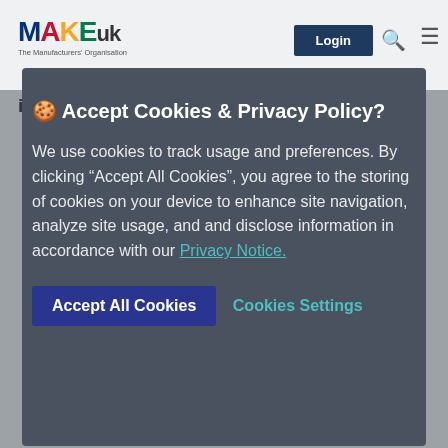[Figure (screenshot): MAKE UK - The Manufacturers' Organisation website header with Login button, search icon, hamburger menu, partial page text showing 'in the run up to the autumn budget' and 'CALL US ON 0808 168 5874']
🍪 Accept Cookies & Privacy Policy?
We use cookies to track usage and preferences. By clicking "Accept All Cookies", you agree to the storing of cookies on your device to enhance site navigation, analyze site usage, and and disclose information in accordance with our Privacy Notice.
Accept All Cookies   Cookies Settings